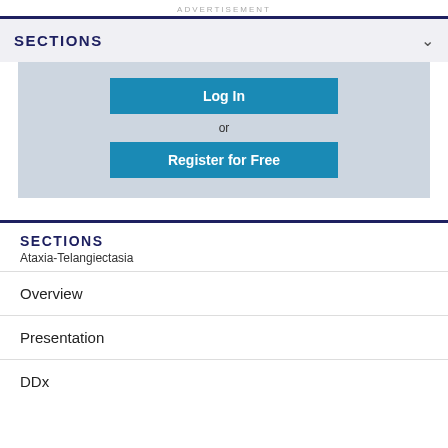ADVERTISEMENT
SECTIONS
[Figure (screenshot): Login and registration panel with 'Log In' and 'Register for Free' buttons on a light blue-grey background]
SECTIONS
Ataxia-Telangiectasia
Overview
Presentation
DDx